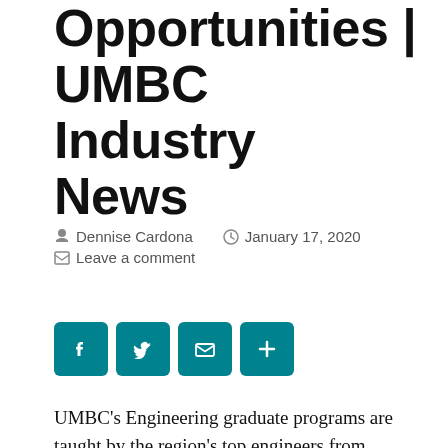Engineering Opportunities | UMBC Industry News
Dennise Cardona   January 17, 2020   Leave a comment
[Figure (other): Social sharing buttons: Facebook, Twitter, Email, More]
UMBC's Engineering graduate programs are taught by the region's top engineers from leading contractors. An engineering